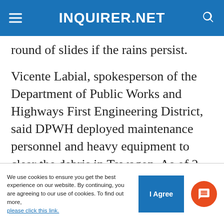INQUIRER.NET
round of slides if the rains persist.
Vicente Labial, spokesperson of the Department of Public Works and Highways First Engineering District, said DPWH deployed maintenance personnel and heavy equipment to clear the debris in Tawagon. As of 2 p.m. on Thursday, one lane of the road was passable.
[Figure (screenshot): Black video/media player area]
We use cookies to ensure you get the best experience on our website. By continuing, you are agreeing to our use of cookies. To find out more, please click this link.